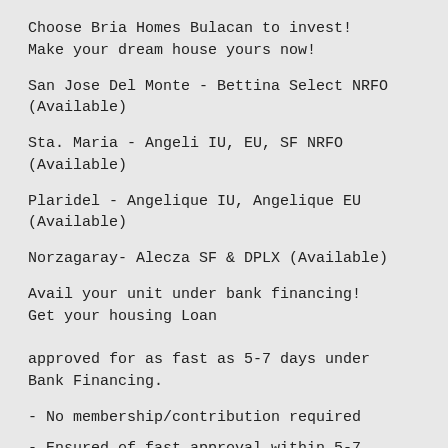Choose Bria Homes Bulacan to invest! Make your dream house yours now!
San Jose Del Monte - Bettina Select NRFO (Available)
Sta. Maria - Angeli IU, EU, SF NRFO (Available)
Plaridel - Angelique IU, Angelique EU (Available)
Norzagaray- Alecza SF & DPLX (Available)
Avail your unit under bank financing! Get your housing Loan approved for as fast as 5-7 days under Bank Financing.
- No membership/contribution required
- Ensured of fast approval within 5-7 days